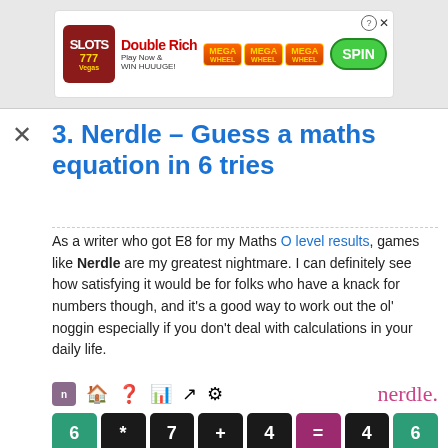[Figure (screenshot): Advertisement banner for 'Double Rich' slots game with Mega Wheel and Spin button]
3. Nerdle – Guess a maths equation in 6 tries
As a writer who got E8 for my Maths O level results, games like Nerdle are my greatest nightmare. I can definitely see how satisfying it would be for folks who have a knack for numbers though, and it's a good way to work out the ol' noggin especially if you don't deal with calculations in your daily life.
[Figure (screenshot): Nerdle game interface showing header with icons and brand name 'nerdle.' and game grid rows: row 1: 6 * 7 + 4 = 4 6 (green, dark, dark, dark, dark, magenta, green, green); row 2: 6 * 2 1 = 1 2 6 (green, dark, dark, dark, magenta, green, green, green)]